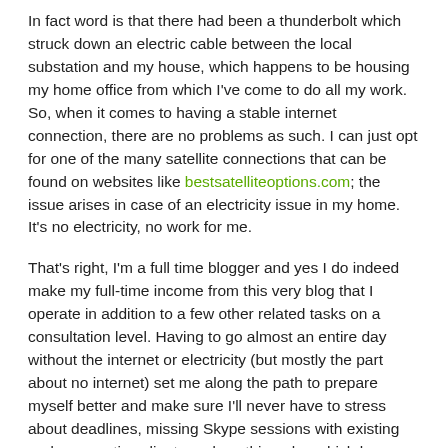In fact word is that there had been a thunderbolt which struck down an electric cable between the local substation and my house, which happens to be housing my home office from which I've come to do all my work. So, when it comes to having a stable internet connection, there are no problems as such. I can just opt for one of the many satellite connections that can be found on websites like bestsatelliteoptions.com; the issue arises in case of an electricity issue in my home. It's no electricity, no work for me.
That's right, I'm a full time blogger and yes I do indeed make my full-time income from this very blog that I operate in addition to a few other related tasks on a consultation level. Having to go almost an entire day without the internet or electricity (but mostly the part about no internet) set me along the path to prepare myself better and make sure I'll never have to stress about deadlines, missing Skype sessions with existing and prospective clients and anything else which keeps me away from the connected world.
I'll admit, it scares me a bit that I seem to be totally dependent